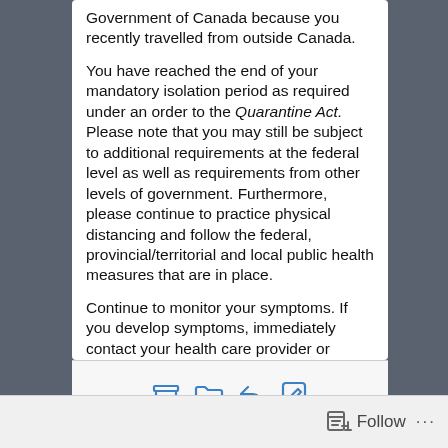Government of Canada because you recently travelled from outside Canada.
You have reached the end of your mandatory isolation period as required under an order to the Quarantine Act. Please note that you may still be subject to additional requirements at the federal level as well as requirements from other levels of government. Furthermore, please continue to practice physical distancing and follow the federal, provincial/territorial and local public health measures that are in place.
Continue to monitor your symptoms. If you develop symptoms, immediately contact your health care provider or public health authority and follow their instructions.
Thank you.
FOR MORE INFORMATION
[Figure (screenshot): Mobile app toolbar with four icons: archive, folder, reply/back arrow, and edit/compose, in blue outline style]
[Figure (screenshot): Bottom navigation bar of a mobile app showing a Follow button with an icon and three dots menu]